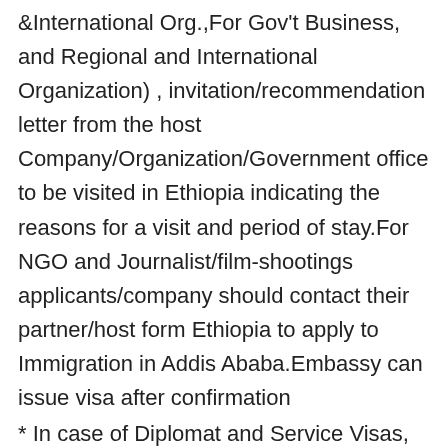&International Org.,For Gov't Business, and Regional and International Organization) , invitation/recommendation letter from the host Company/Organization/Government office to be visited in Ethiopia indicating the reasons for a visit and period of stay.For NGO and Journalist/film-shootings applicants/company should contact their partner/host form Ethiopia to apply to Immigration in Addis Ababa.Embassy can issue visa after confirmation
* In case of Diplomat and Service Visas, note verbal is necessary
* Visa application sent by post is acceptable. Please send the necessary documents and payment to the Embassy through GENKIN KAKITOME (registered mail).